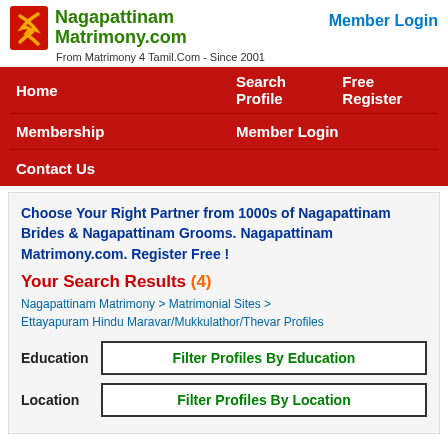[Figure (logo): Nagapattinam Matrimony.com logo with red icon and green text]
Member Login
From Matrimony 4 Tamil.Com - Since 2001
Home   Search Profile   Free Register
Membership   Member Login
Contact Us
Choose Your Right Partner from 1000s of Nagapattinam Brides & Nagapattinam Grooms. Nagapattinam Matrimony.com. Register Free !
Your Search Results (4)
Nagapattinam Matrimony > Matrimonial Sites > Ettayapuram Hindu Maravar/Mukkulathor/Thevar Profiles
Education   Filter Profiles By Education
Location   Filter Profiles By Location